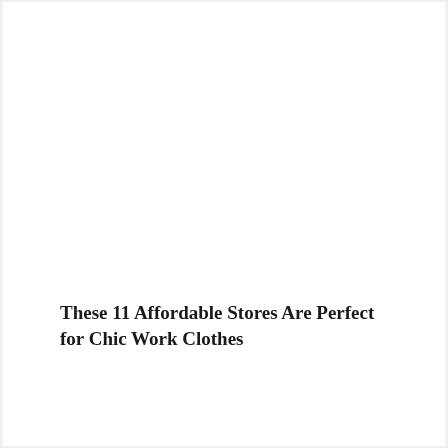These 11 Affordable Stores Are Perfect for Chic Work Clothes